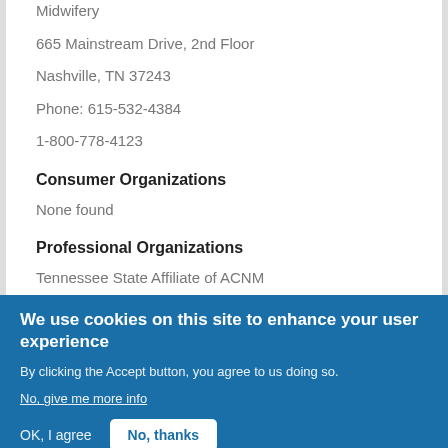Midwifery
665 Mainstream Drive, 2nd Floor
Nashville, TN 37243
Phone: 615-532-4384
1-800-778-4123
Consumer Organizations
None found
Professional Organizations
Tennessee State Affiliate of ACNM
http://tennessee.midwife.org/
We use cookies on this site to enhance your user experience
By clicking the Accept button, you agree to us doing so.
No, give me more info
OK, I agree
No, thanks